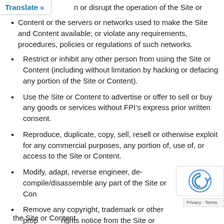n or disrupt the operation of the Site or Content or the servers or networks used to make the Site and Content available; or violate any requirements, procedures, policies or regulations of such networks.
Restrict or inhibit any other person from using the Site or Content (including without limitation by hacking or defacing any portion of the Site or Content).
Use the Site or Content to advertise or offer to sell or buy any goods or services without FPI’s express prior written consent.
Reproduce, duplicate, copy, sell, resell or otherwise exploit for any commercial purposes, any portion of, use of, or access to the Site or Content.
Modify, adapt, reverse engineer, de-compile/disassemble any part of the Site or Content.
Remove any copyright, trademark or other proprietary rights notice from the Site or materials originating from the Site or Content.